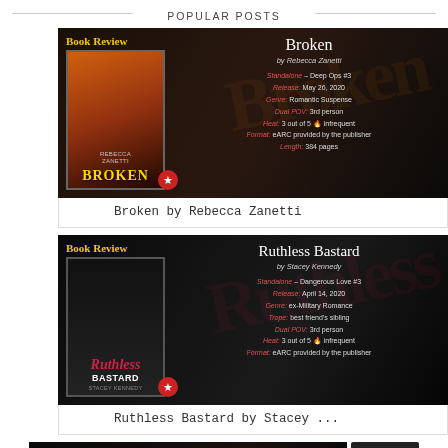POPULAR POSTS
[Figure (photo): Book review card for Broken by Rebecca Zanetti — dark background with book cover image showing orange/brown tones and text overlay with review details]
Broken by Rebecca Zanetti
[Figure (photo): Book review card for Ruthless Bastard by Stacey Kennedy — dark background with book cover image of shirtless man and text overlay with review details]
Ruthless Bastard by Stacey ...
[Figure (photo): Book review card for The Mindf*ck Series by S.T. Abby — partial view of dark background card with book cover and text overlay]